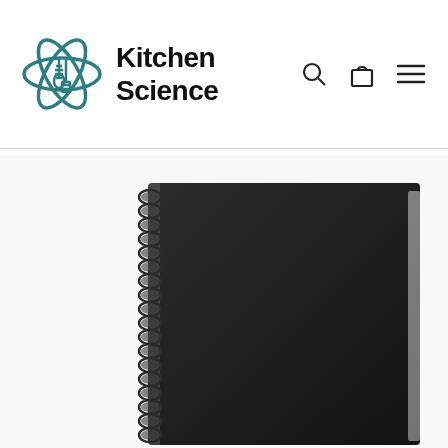[Figure (logo): Kitchen Science logo with atom/whisk icon and bold text reading Kitchen Science]
[Figure (photo): A black spiral-bound notebook photographed against a white background, showing the front cover and spiral binding on the left side]